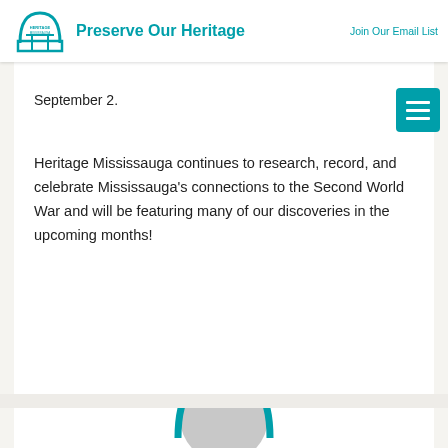[Figure (logo): Heritage Mississauga logo — circular arch design in teal with text]
Preserve Our Heritage    Join Our Email List
September 2.
Heritage Mississauga continues to research, record, and celebrate Mississauga's connections to the Second World War and will be featuring many of our discoveries in the upcoming months!
[Figure (photo): Partial circular profile image or logo at bottom of page, teal and gray tones]